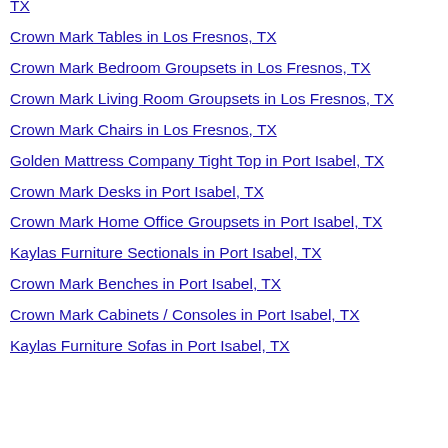TX
Crown Mark Tables in Los Fresnos, TX
Crown Mark Bedroom Groupsets in Los Fresnos, TX
Crown Mark Living Room Groupsets in Los Fresnos, TX
Crown Mark Chairs in Los Fresnos, TX
Golden Mattress Company Tight Top in Port Isabel, TX
Crown Mark Desks in Port Isabel, TX
Crown Mark Home Office Groupsets in Port Isabel, TX
Kaylas Furniture Sectionals in Port Isabel, TX
Crown Mark Benches in Port Isabel, TX
Crown Mark Cabinets / Consoles in Port Isabel, TX
Kaylas Furniture Sofas in Port Isabel, TX